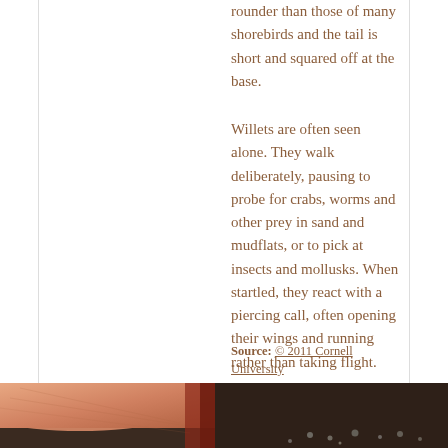rounder than those of many shorebirds and the tail is short and squared off at the base.
Willets are often seen alone. They walk deliberately, pausing to probe for crabs, worms and other prey in sand and mudflats, or to pick at insects and mollusks. When startled, they react with a piercing call, often opening their wings and running rather than taking flight.
Source: © 2011 Cornell University
[Figure (photo): Close-up photo of a bird or hand with small pebbles/stones visible, dark background]